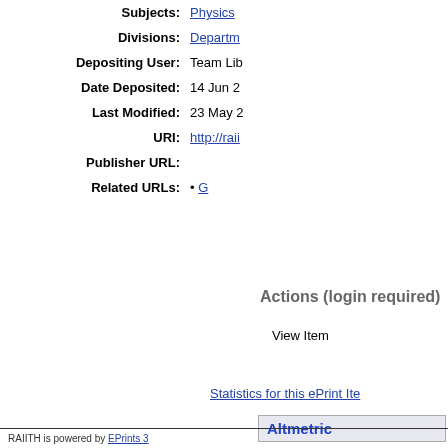| Subjects: | Physics |
| Divisions: | Departm… |
| Depositing User: | Team Lib… |
| Date Deposited: | 14 Jun 2… |
| Last Modified: | 23 May 2… |
| URI: | http://rai… |
| Publisher URL: |  |
| Related URLs: | • G… |
Actions (login required)
View Item
Statistics for this ePrint Ite…
Altmetric
RAIITH is powered by EPrints 3